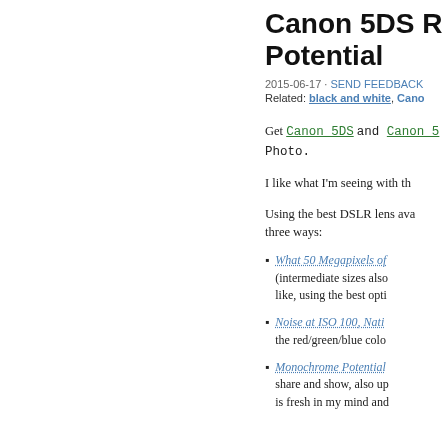Canon 5DS R Potential
2015-06-17 · SEND FEEDBACK
Related: black and white, Cano…
Get Canon 5DS and Canon 5… Photo.
I like what I'm seeing with th…
Using the best DSLR lens ava… three ways:
What 50 Megapixels of… (intermediate sizes also… like, using the best opti…
Noise at ISO 100, Nati… the red/green/blue colo…
Monochrome Potential… share and show, also up… is fresh in my mind and…